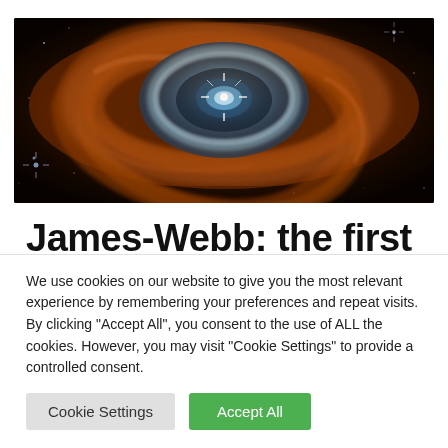[Figure (photo): James Webb Space Telescope image of the Southern Ring Nebula — a glowing blue-white ring surrounded by swirling orange-brown dust filaments against a dark star-filled background.]
James-Webb: the first images open a new era of astronomy
We use cookies on our website to give you the most relevant experience by remembering your preferences and repeat visits. By clicking "Accept All", you consent to the use of ALL the cookies. However, you may visit "Cookie Settings" to provide a controlled consent.